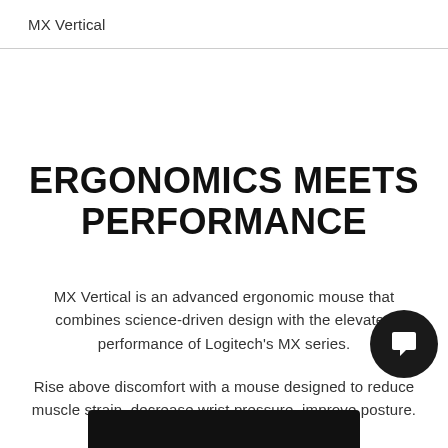MX Vertical
ERGONOMICS MEETS PERFORMANCE
MX Vertical is an advanced ergonomic mouse that combines science-driven design with the elevated performance of Logitech's MX series.
Rise above discomfort with a mouse designed to reduce muscle strain, decrease wrist pressure, improve posture.